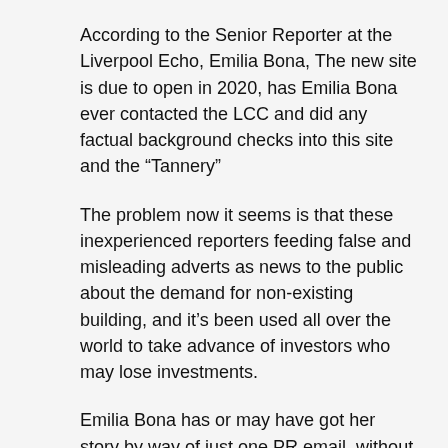According to the Senior Reporter at the Liverpool Echo, Emilia Bona, The new site is due to open in 2020, has Emilia Bona ever contacted the LCC and did any factual background checks into this site and the “Tannery”
The problem now it seems is that these inexperienced reporters feeding false and misleading adverts as news to the public about the demand for non-existing building, and it’s been used all over the world to take advance of investors who may lose investments.
Emilia Bona has or may have got her story by way of just one PR email, without checking her facts? Why is this? LCC will find that the planning application was not done by Surrenden Invest.
Surrenden Invest is not the “Developer ” as she has